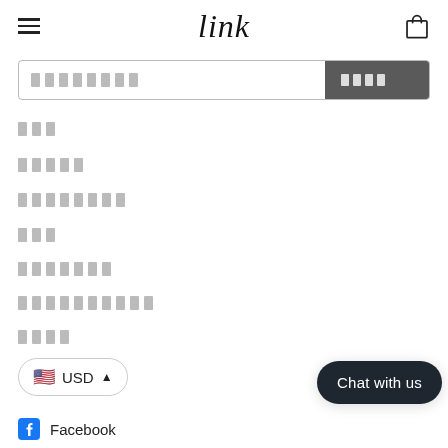link — navigation menu page with hamburger, logo, bag icon
[Figure (screenshot): Search input field with placeholder blocks and a dark grey search button with block characters]
███
█████
████████
███
███████
██████████
████
🇺🇸 USD ▲
Chat with us
Facebook